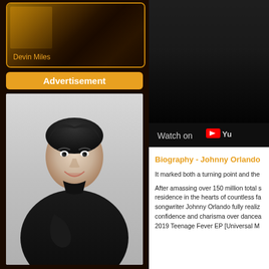[Figure (photo): Dark themed card with decorative background image and text 'Devin Miles' at bottom in orange]
Devin Miles
Advertisement
[Figure (photo): Black and white portrait photo of a smiling man in black clothing]
[Figure (screenshot): YouTube video embed with dark background showing 'Watch on YouTube' bar at bottom]
Biography - Johnny Orlando
It marked both a turning point and the
After amassing over 150 million total streams, taking up residence in the hearts of countless fans, singer-songwriter Johnny Orlando fully realized his natural confidence and charisma over dance-pop beats on his 2019 Teenage Fever EP [Universal M